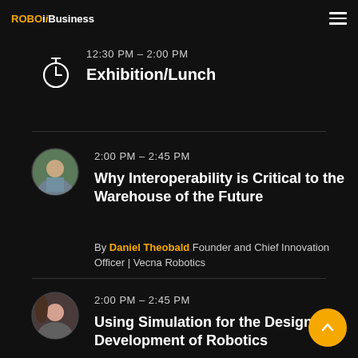ROBOBusiness
12:30 PM – 2:00 PM
Exhibition/Lunch
2:00 PM – 2:45 PM
Why Interoperability is Critical to the Warehouse of the Future
By Daniel Theobald Founder and Chief Innovation Officer | Vecna Robotics
2:00 PM – 2:45 PM
Using Simulation for the Design and Development of Robotics